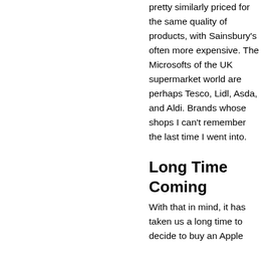pretty similarly priced for the same quality of products, with Sainsbury's often more expensive. The Microsofts of the UK supermarket world are perhaps Tesco, Lidl, Asda, and Aldi. Brands whose shops I can't remember the last time I went into.
Long Time Coming
With that in mind, it has taken us a long time to decide to buy an Apple